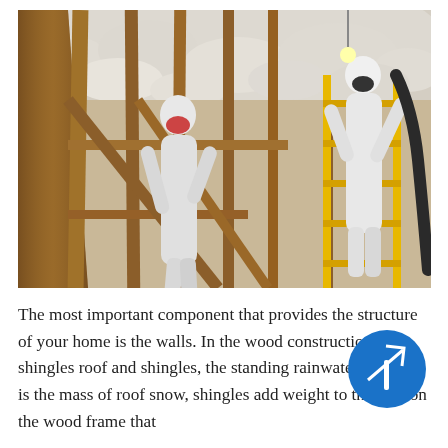[Figure (photo): Two workers in white protective suits and respirator masks applying spray foam insulation to the ceiling and walls of a wood-framed building interior under construction. One worker stands on a yellow scaffolding ladder on the right, holding a hose to spray insulation. The ceiling is covered with white spray foam. Exposed wooden framing beams are visible throughout.]
The most important component that provides the structure of your home is the walls. In the wood construction roof, shingles roof and shingles, the standing rainwater and that is the mass of roof snow, shingles add weight to the roof on the wood frame that